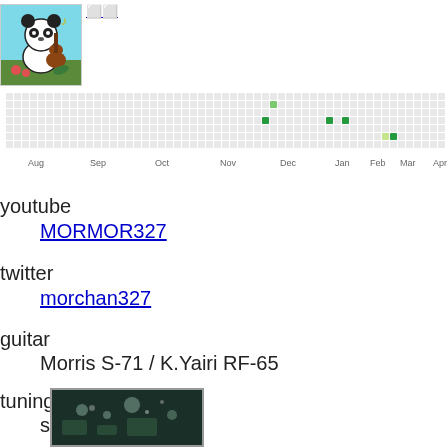[Figure (illustration): Profile picture showing a cartoon panda playing guitar in a colorful illustrated style]
[Figure (other): Contribution activity heatmap grid showing activity from Aug through Apr, with some green highlighted squares around Jan-Mar period]
youtube
MORMOR327
twitter
morchan327
guitar
Morris S-71 / K.Yairi RF-65
tuning
standard
[Figure (photo): Small dark thumbnail photo showing what appears to be a dimly lit interior scene with some lights visible]